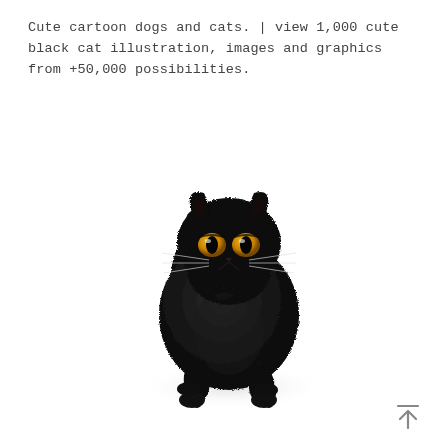Cute cartoon dogs and cats. | view 1,000 cute black cat illustration, images and graphics from +50,000 possibilities.
[Figure (illustration): A realistic 3D illustration of a black cat standing in a walking pose, facing forward with golden-yellow eyes, tail curved upward, with a soft shadow beneath it on a white background.]
[Figure (other): A scroll-to-top icon: a horizontal line above an upward-pointing arrow, rendered in gray.]